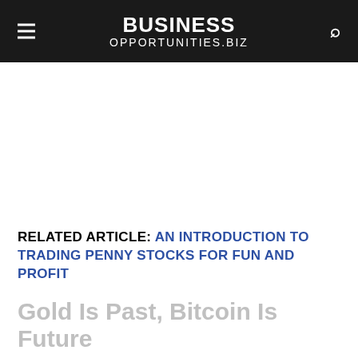BUSINESS OPPORTUNITIES.BIZ
[Figure (other): Advertisement / blank white space area]
RELATED ARTICLE: AN INTRODUCTION TO TRADING PENNY STOCKS FOR FUN AND PROFIT
Gold Is Past, Bitcoin Is Future